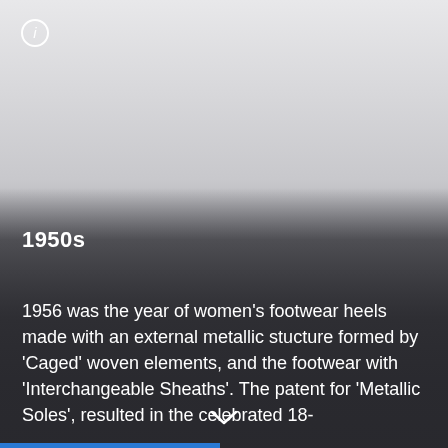[Figure (illustration): Info icon (circled letter i) in top left corner over a light grey gradient background representing an image area]
1950s
1956 was the year of women's footwear heels made with an external metallic stucture formed by 'Caged' woven elements, and the footwear with 'Interchangeable Sheaths'. The patent for 'Metallic Soles', resulted in the celebrated 18-